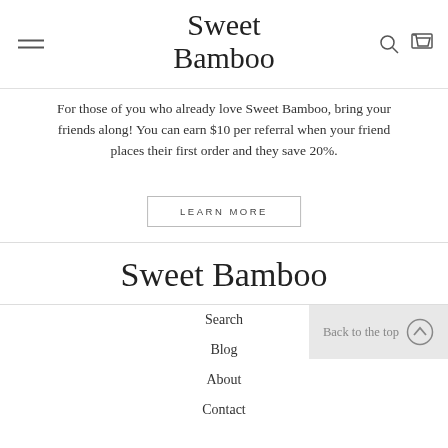Sweet Bamboo
For those of you who already love Sweet Bamboo, bring your friends along! You can earn $10 per referral when your friend places their first order and they save 20%.
LEARN MORE
Sweet Bamboo
Search
Blog
About
Contact
Back to the top